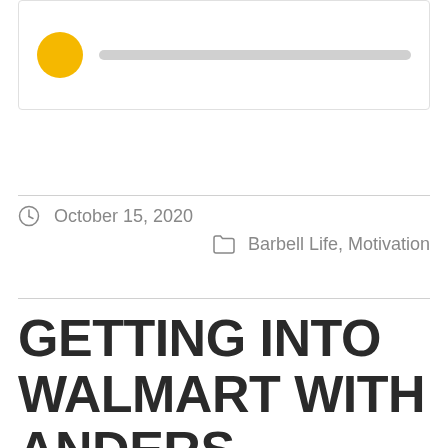[Figure (other): Audio player widget with yellow circular play button and gray progress bar]
October 15, 2020
Barbell Life, Motivation
GETTING INTO WALMART WITH ANDERS VARNER – THE BARBELL LIFE 329